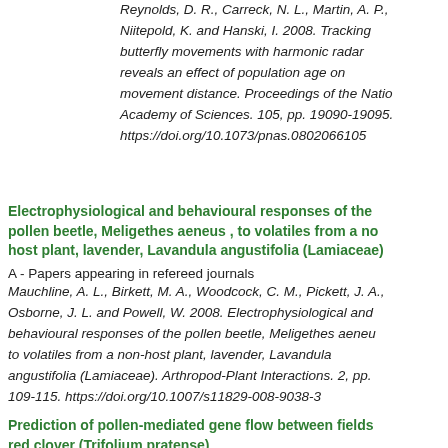Reynolds, D. R., Carreck, N. L., Martin, A. P., Niitepold, K. and Hanski, I. 2008. Tracking butterfly movements with harmonic radar reveals an effect of population age on movement distance. Proceedings of the National Academy of Sciences. 105, pp. 19090-19095. https://doi.org/10.1073/pnas.0802066105
Electrophysiological and behavioural responses of the pollen beetle, Meligethes aeneus , to volatiles from a non-host plant, lavender, Lavandula angustifolia (Lamiaceae)
A - Papers appearing in refereed journals
Mauchline, A. L., Birkett, M. A., Woodcock, C. M., Pickett, J. A., Osborne, J. L. and Powell, W. 2008. Electrophysiological and behavioural responses of the pollen beetle, Meligethes aeneus, to volatiles from a non-host plant, lavender, Lavandula angustifolia (Lamiaceae). Arthropod-Plant Interactions. 2, pp. 109-115. https://doi.org/10.1007/s11829-008-9038-3
Prediction of pollen-mediated gene flow between fields of red clover (Trifolium pratense)